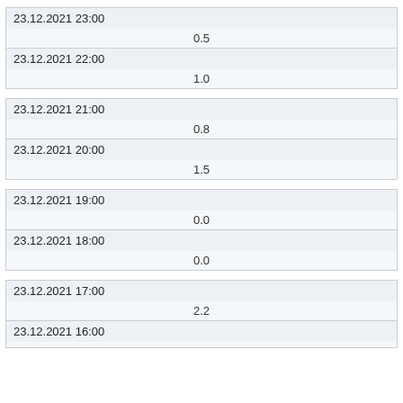| 23.12.2021 23:00 | 0.5 |
| 23.12.2021 22:00 | 1.0 |
| 23.12.2021 21:00 | 0.8 |
| 23.12.2021 20:00 | 1.5 |
| 23.12.2021 19:00 | 0.0 |
| 23.12.2021 18:00 | 0.0 |
| 23.12.2021 17:00 | 2.2 |
| 23.12.2021 16:00 |  |